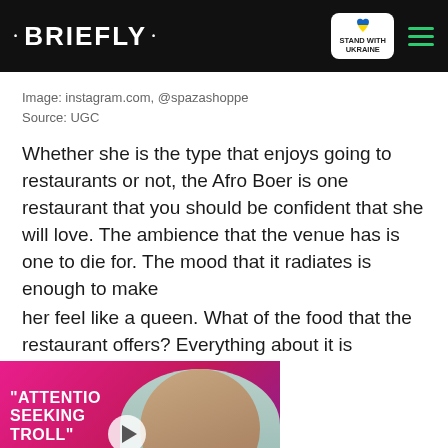• BRIEFLY •
Image: instagram.com, @spazashoppe
Source: UGC
Whether she is the type that enjoys going to restaurants or not, the Afro Boer is one restaurant that you should be confident that she will love. The ambience that the venue has is one to die for. The mood that it radiates is enough to make her feel like a queen. What of the food that the restaurant offers? Everything about it is heavenly. You do not want to
[Figure (screenshot): Video player overlay showing a woman and text 'ATTENTION SEEKING TROLL' with a play button and close/chevron controls. Below is a Ukraine donation banner.]